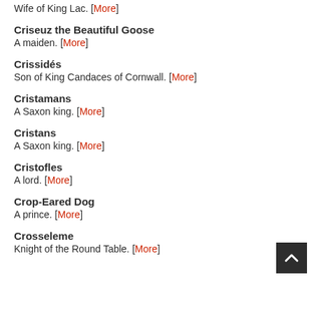Wife of King Lac. [More]
Criseuz the Beautiful Goose
A maiden. [More]
Crissidés
Son of King Candaces of Cornwall. [More]
Cristamans
A Saxon king. [More]
Cristans
A Saxon king. [More]
Cristofles
A lord. [More]
Crop-Eared Dog
A prince. [More]
Crosseleme
Knight of the Round Table. [More]